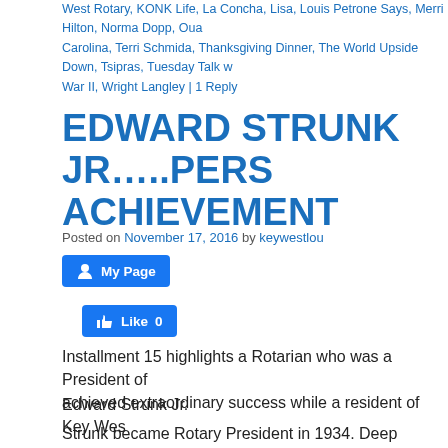West Rotary, KONK Life, La Concha, Lisa, Louis Petrone Says, Merri Hilton, Norma Dopp, Oua Carolina, Terri Schmida, Thanksgiving Dinner, The World Upside Down, Tsipras, Tuesday Talk w War II, Wright Langley | 1 Reply
EDWARD STRUNK JR…..PERSONAL ACHIEVEMENT
Posted on November 17, 2016 by keywestlou
[Figure (screenshot): Blue Facebook 'My Page' button with user icon]
[Figure (screenshot): Blue Facebook 'Like 0' button with thumbs up icon]
Installment 15 highlights a Rotarian who was a President of achieved extraordinary success while a resident of Key Wes
Edward Strunk Jr.
Strunk became Rotary President in 1934. Deep depression President include increasing membership from 19 to 29. No